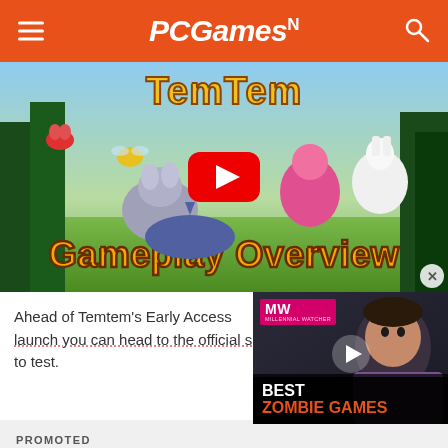PCGamesN
[Figure (screenshot): Temtem Gameplay Overview video thumbnail with YouTube play button overlay. Shows colorful creature battle scene with monsters and 'Gameplay Overview' text in large orange letters.]
Ahead of Temtem's Early Access launch you can head to the official site to test.
[Figure (screenshot): MW (Millennial Watcher) video ad overlay showing The Last of Us character with BEST ZOMBIE GAMES text and play button.]
PROMOTED
Start your Raid: Shadow Legends journey today